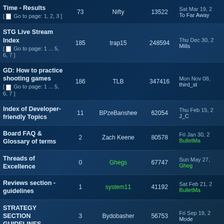| Topic | Replies | Author | Views | Last Post |
| --- | --- | --- | --- | --- |
| Time - Results [ Go to page: 1, 2, 3 ] | 73 | Nifty | 13522 | Sat Mar 19, 2 To Far Away |
| STG Live Stream Index [ Go to page: 1 ... 5, 6, 7 ] | 185 | trap15 | 248594 | Thu Dec 30, 2 Mills |
| GD: How to practice shooting games [ Go to page: 1 ... 5, 6, 7 ] | 186 | TLB | 347416 | Mon Nov 08, third_st |
| Index of Developer-friendly Topics | 11 | BPzeBanshee | 62054 | Thu Feb 15, 2 J_C |
| Board FAQ & Glossary of terms | 2 | Zach Keene | 80578 | Fri Jan 30, 2 BulletMa |
| Threads of Excellence | 0 | Ghegs | 67747 | Sun May 27, Gheg |
| Reviews section - guidelines | 1 | system11 | 41192 | Sat Feb 21, 2 BulletMa |
| STRATEGY SECTION GUIDELINES | 3 | Bydobasher | 56753 | Fri Sep 19, 2 Mode |
| Reviews Board Index | 0 | Zach Keene | 44421 | Tue Mar 28, 2 Zach Ke |
| I DID IT! Share your latest 1CCs/other triumphs here... | 5657 | Deca | 941457 | Tue Aug 30, bcas |